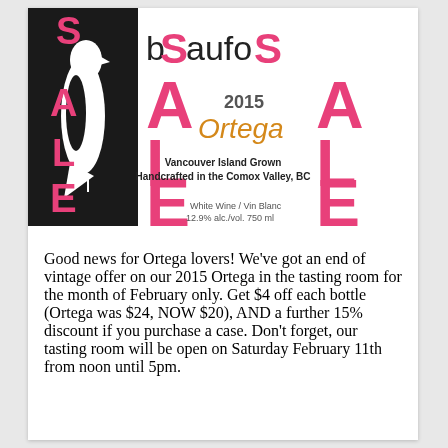[Figure (illustration): Beaufort wine label showing a wine bottle with a bird on a black banner with SALE letters in pink, 2015 Ortega, Vancouver Island Grown, Handcrafted in the Comox Valley BC, white wine 12.9% alc./vol. 750 ml]
Good news for Ortega lovers! We've got an end of vintage offer on our 2015 Ortega in the tasting room for the month of February only. Get $4 off each bottle (Ortega was $24, NOW $20), AND a further 15% discount if you purchase a case. Don't forget, our tasting room will be open on Saturday February 11th from noon until 5pm.